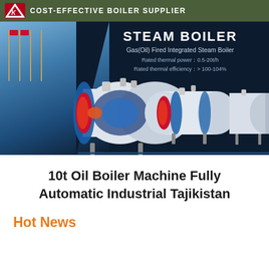COST-EFFECTIVE BOILER SUPPLIER
[Figure (photo): Banner image showing industrial steam boilers (Gas/Oil Fired Integrated Steam Boiler) with text: STEAM BOILER, Gas(Oil) Fired Integrated Steam Boiler, Rated thermal power: 0.5-20t/h, Rated thermal efficiency: > 100-104%. Background shows a glass building with flagpoles on the left and three boiler units on the right.]
10t Oil Boiler Machine Fully Automatic Industrial Tajikistan
Hot News